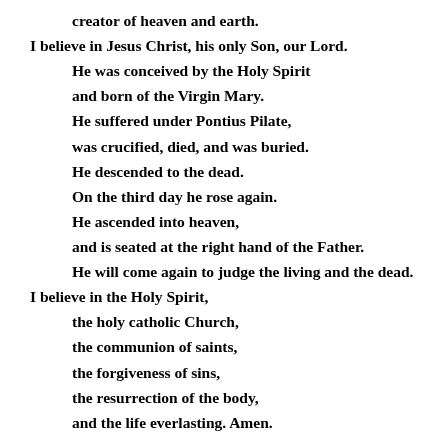creator of heaven and earth.
I believe in Jesus Christ, his only Son, our Lord.
He was conceived by the Holy Spirit
and born of the Virgin Mary.
He suffered under Pontius Pilate,
was crucified, died, and was buried.
He descended to the dead.
On the third day he rose again.
He ascended into heaven,
and is seated at the right hand of the Father.
He will come again to judge the living and the dead.
I believe in the Holy Spirit,
the holy catholic Church,
the communion of saints,
the forgiveness of sins,
the resurrection of the body,
and the life everlasting. Amen.